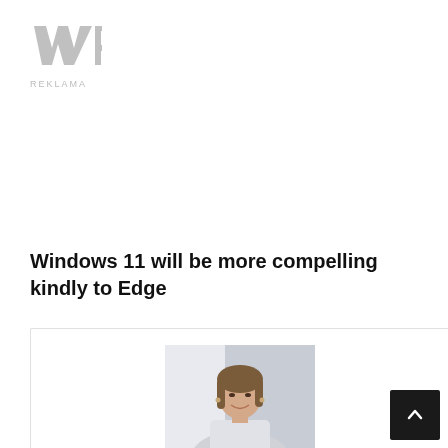WP REKLAMA
Windows 11 will be more compelling kindly to Edge
[Figure (photo): Portrait photo of a young woman smiling, wearing a white top, indoor background with soft lighting]
Maria Palmer